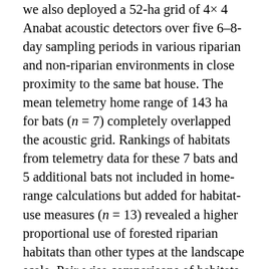we also deployed a 52-ha grid of 4×4 Anabat acoustic detectors over five 6–8-day sampling periods in various riparian and non-riparian environments in close proximity to the same bat house. The mean telemetry home range of 143 ha for bats (n = 7) completely overlapped the acoustic grid. Rankings of habitats from telemetry data for these 7 bats and 5 additional bats not included in home-range calculations but added for habitat-use measures (n = 13) revealed a higher proportional use of forested riparian habitats than other types at the landscape scale. Pair-wise comparisons of habitats indicated that bats were found significantly closer to forested riparian habitats and forests than to open water, developed areas, fields, shrublands, or wetland habitats at the landscape scale, as they were also observed